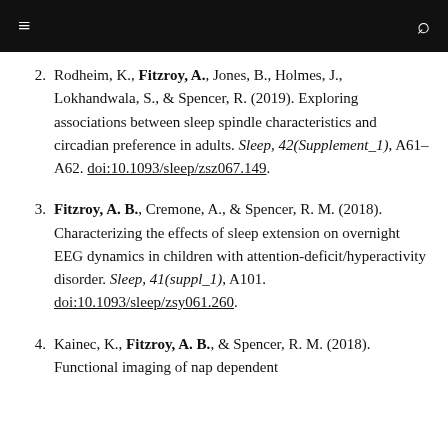≡  [search icon]
2. Rodheim, K., Fitzroy, A., Jones, B., Holmes, J., Lokhandwala, S., & Spencer, R. (2019). Exploring associations between sleep spindle characteristics and circadian preference in adults. Sleep, 42(Supplement_1), A61–A62. doi:10.1093/sleep/zsz067.149.
3. Fitzroy, A. B., Cremone, A., & Spencer, R. M. (2018). Characterizing the effects of sleep extension on overnight EEG dynamics in children with attention-deficit/hyperactivity disorder. Sleep, 41(suppl_1), A101. doi:10.1093/sleep/zsy061.260.
4. Kainec, K., Fitzroy, A. B., & Spencer, R. M. (2018). Functional imaging of nap dependent